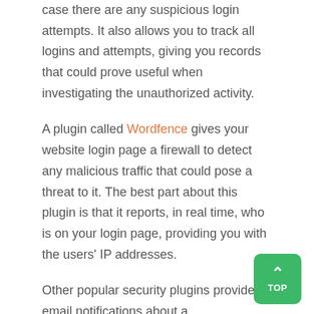case there are any suspicious login attempts. It also allows you to track all logins and attempts, giving you records that could prove useful when investigating the unauthorized activity.

A plugin called Wordfence gives your website login page a firewall to detect any malicious traffic that could pose a threat to it. The best part about this plugin is that it reports, in real time, who is on your login page, providing you with the users' IP addresses.

Other popular security plugins provide email notifications about a